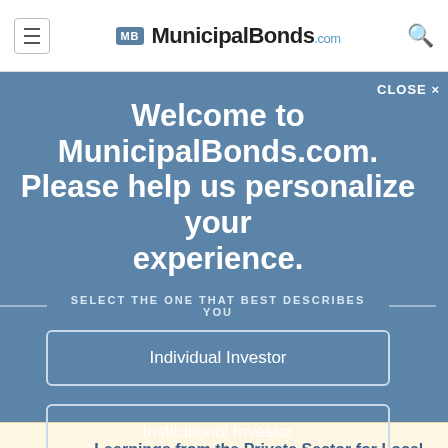MunicipalBonds.com
Welcome to MunicipalBonds.com. Please help us personalize your experience.
SELECT THE ONE THAT BEST DESCRIBES YOU
Individual Investor
Institutional Investor
Financial Advisor
ALERT Learnings from the Private Sector for Local Government Operations